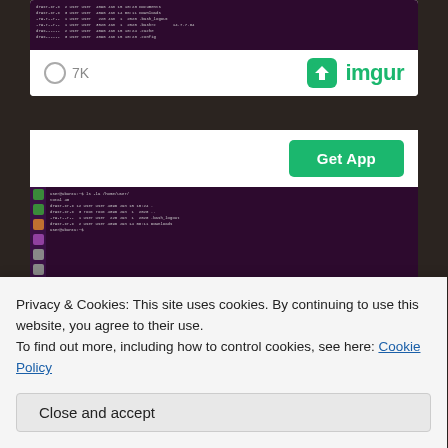[Figure (screenshot): Ubuntu terminal screenshot in a card with dark purple terminal background showing command output text]
7K
[Figure (logo): Imgur logo with green arrow icon and green 'imgur' text]
[Figure (screenshot): Second card with Get App button and Ubuntu terminal screenshot below it]
Get App
Privacy & Cookies: This site uses cookies. By continuing to use this website, you agree to their use.
To find out more, including how to control cookies, see here: Cookie Policy
Close and accept